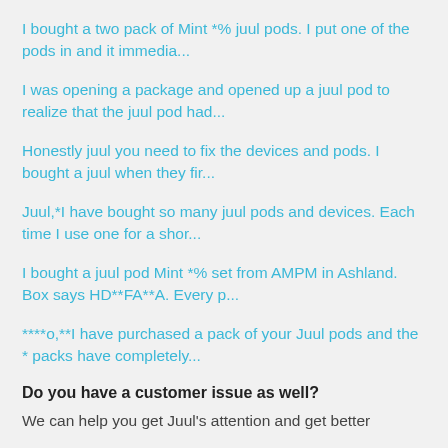I bought a two pack of Mint *% juul pods. I put one of the pods in and it immedia...
I was opening a package and opened up a juul pod to realize that the juul pod had...
Honestly juul you need to fix the devices and pods. I bought a juul when they fir...
Juul,*I have bought so many juul pods and devices. Each time I use one for a shor...
I bought a juul pod Mint *% set from AMPM in Ashland. Box says HD**FA**A. Every p...
****o,**I have purchased a pack of your Juul pods and the * packs have completely...
Do you have a customer issue as well?
We can help you get Juul's attention and get better